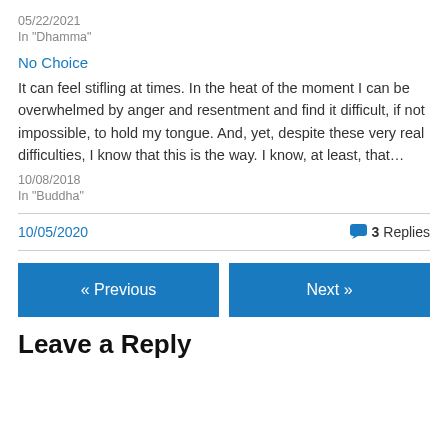05/22/2021
In "Dhamma"
No Choice
It can feel stifling at times. In the heat of the moment I can be overwhelmed by anger and resentment and find it difficult, if not impossible, to hold my tongue. And, yet, despite these very real difficulties, I know that this is the way. I know, at least, that…
10/08/2018
In "Buddha"
10/05/2020
3 Replies
« Previous
Next »
Leave a Reply